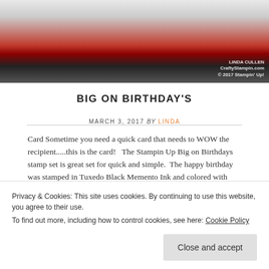[Figure (photo): Photo of a handmade birthday card with a pink/red stripe and script lettering, watermarked with 'LINDA CULLEN CraftyStampin.com © 2017 Stampin Up!']
BIG ON BIRTHDAY'S
MARCH 3, 2017 BY LINDA
Card Sometime you need a quick card that needs to WOW the recipient.....this is the card!   The Stampin Up Big on Birthdays stamp set is great set for quick and simple.  The happy birthday was stamped in Tuxedo Black Memento Ink and colored with Rose Red and Old Olive Stampin Write Markers. The extra flowers that are ...
Privacy & Cookies: This site uses cookies. By continuing to use this website, you agree to their use.
To find out more, including how to control cookies, see here: Cookie Policy
Close and accept